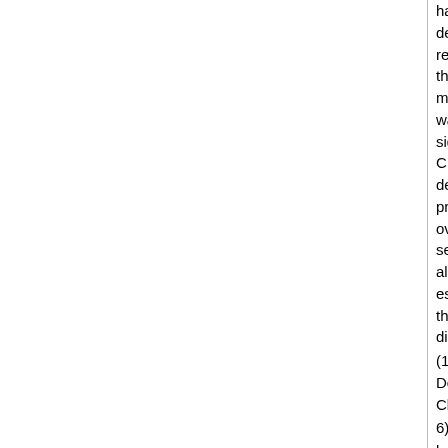has been used to assess the effects of Amazon deforestation on the regional and global climate. When the tropical forests in the model were replaced with degraded grass (pasture), there was a significant increase in the surface temperature (from 1 C to 3 degrees C) and a decrease in evapotranspiration and precipitation over Amazonia. In the simulation, the length of the dry season also increased. Such an increase could make the re-establishment of the tropical forests after massive deforestation very difficult.
(1) Shuka, J, Nobre, C, Sellus, P (1990) Amazon Deforestation on Climate Change SCIENCE Vol 247, pp 1322
6) Science: Who Do You Believe?
by Dr Jeremy Leggett
Negotiators without a scientific background must be forgiven for lapsing into confusion from time to time as they watch the dance of scientific uncertainties over warming.